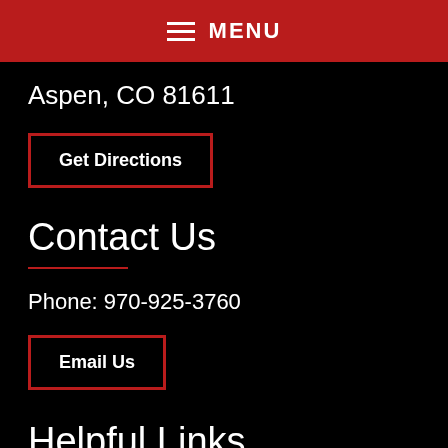≡ MENU
Aspen, CO 81611
Get Directions
Contact Us
Phone: 970-925-3760
Email Us
Helpful Links